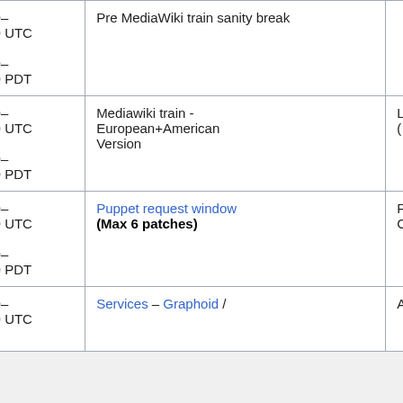| Time | Event | Details |
| --- | --- | --- |
| 12:00–13:00 UTC #
05:00–06:00 PDT | Pre MediaWiki train sanity break |  |
| 13:00–15:00 UTC #
06:00–08:00 PDT | Mediawiki train - European+American Version | L ( |
| 16:00–17:00 UTC #
09:00–10:00 PDT | Puppet request window (Max 6 patches) | F C |
| 17:00–18:00 UTC # | Services – Graphoid / | A |